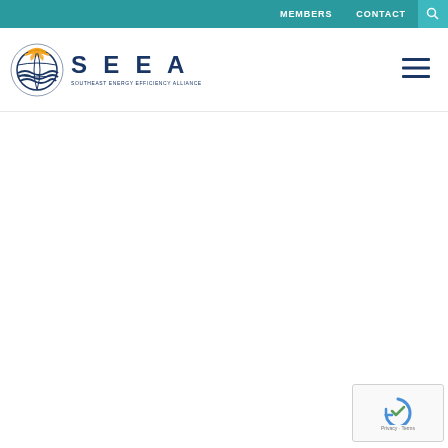MEMBERS  CONTACT
[Figure (logo): SEEA Southeast Energy Efficiency Alliance logo with circular globe icon in gold and blue]
[Figure (screenshot): reCAPTCHA widget with Privacy and Terms links]